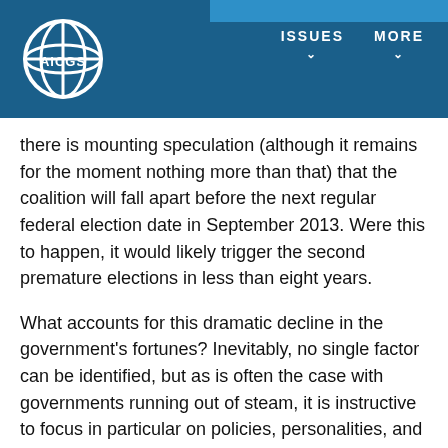AICGS | ISSUES | MORE
there is mounting speculation (although it remains for the moment nothing more than that) that the coalition will fall apart before the next regular federal election date in September 2013. Were this to happen, it would likely trigger the second premature elections in less than eight years.
What accounts for this dramatic decline in the government's fortunes? Inevitably, no single factor can be identified, but as is often the case with governments running out of steam, it is instructive to focus in particular on policies, personalities, and externalities.
In terms of policies, the government's record is at best mixed. Its flagship policy, in that it was supposed to embody the new government's commitment to fiscal responsibility, was the so-called 'debt brake'